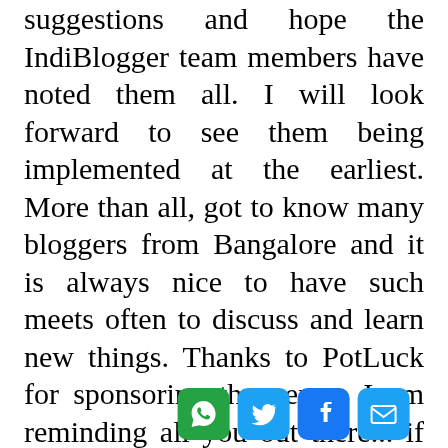suggestions and hope the IndiBlogger team members have noted them all. I will look forward to see them being implemented at the earliest. More than all, got to know many bloggers from Bangalore and it is always nice to have such meets often to discuss and learn new things. Thanks to PotLuck for sponsoring the venue. I am reminding all you out there... if you get an opportunity like this, do make the best use of it. Don't miss such a blogger meet next time!

PS: Note to self – Forget not to carry business cards whenever you head for such a social meet.
[Figure (infographic): Four social media sharing icons: WhatsApp (green), Twitter (blue), Facebook (blue), Email (blue)]